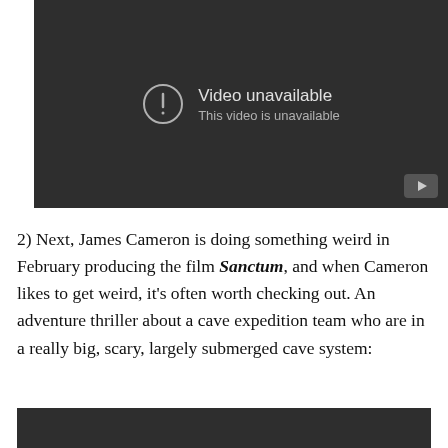[Figure (screenshot): YouTube-style video player showing 'Video unavailable' error message with exclamation icon on dark background]
2) Next, James Cameron is doing something weird in February producing the film Sanctum, and when Cameron likes to get weird, it’s often worth checking out. An adventure thriller about a cave expedition team who are in a really big, scary, largely submerged cave system:
[Figure (screenshot): Second video player, dark background, partially visible at bottom of page]